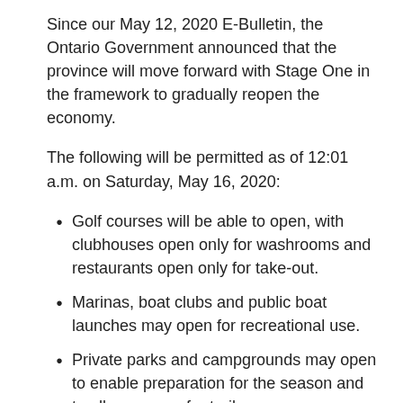Since our May 12, 2020 E-Bulletin, the Ontario Government announced that the province will move forward with Stage One in the framework to gradually reopen the economy.
The following will be permitted as of 12:01 a.m. on Saturday, May 16, 2020:
Golf courses will be able to open, with clubhouses open only for washrooms and restaurants open only for take-out.
Marinas, boat clubs and public boat launches may open for recreational use.
Private parks and campgrounds may open to enable preparation for the season and to allow access for trailers